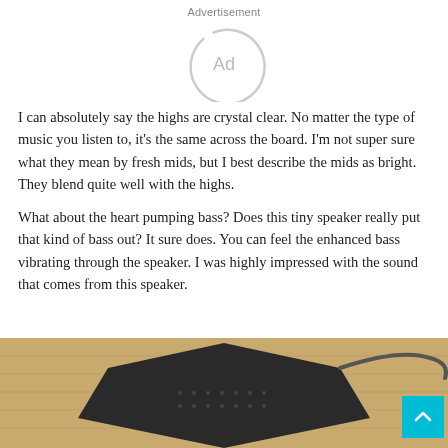Advertisement
[Figure (other): Circular ad placeholder icon with 'Ad' text inside, partially drawn circle]
I can absolutely say the highs are crystal clear. No matter the type of music you listen to, it's the same across the board. I'm not super sure what they mean by fresh mids, but I best describe the mids as bright. They blend quite well with the highs.
What about the heart pumping bass? Does this tiny speaker really put that kind of bass out? It sure does. You can feel the enhanced bass vibrating through the speaker. I was highly impressed with the sound that comes from this speaker.
[Figure (photo): Photo of a black portable/bluetooth speaker on a wooden surface, viewed from above with a cable visible]